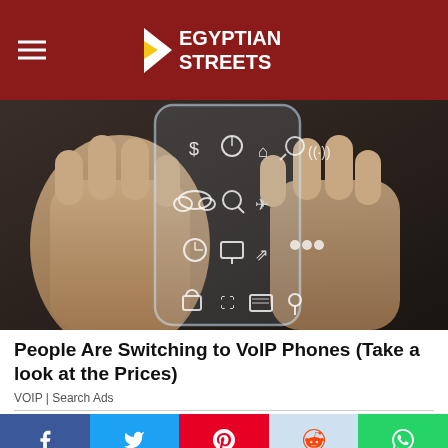Egyptian Streets
[Figure (photo): Hands holding a transparent futuristic smartphone with glowing app icons]
People Are Switching to VoIP Phones (Take a look at the Prices)
VOIP | Search Ads
RELATED ITEMS
AHMED IBRAHIM
ALEXANDRIA
CAIRO
DEE SMITH
EGYPT
EGYPTIAN STREETS
FACEBOOK